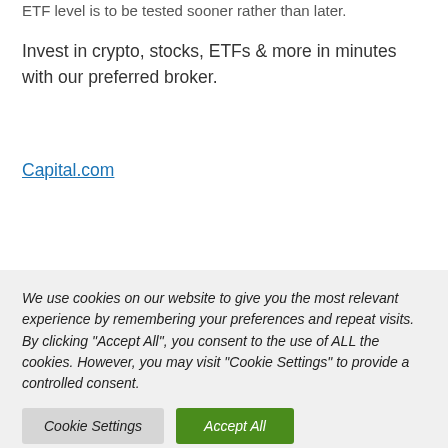ETF level is to be tested sooner rather than later.
Invest in crypto, stocks, ETFs & more in minutes with our preferred broker.
Capital.com
We use cookies on our website to give you the most relevant experience by remembering your preferences and repeat visits. By clicking "Accept All", you consent to the use of ALL the cookies. However, you may visit "Cookie Settings" to provide a controlled consent.